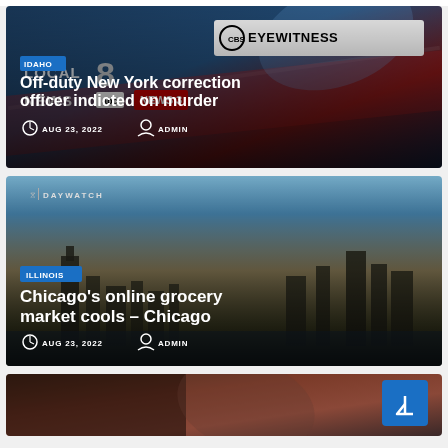[Figure (screenshot): News card 1: TV news broadcast background with LOCAL 8, CBS EYEWITNESS, ABC, NEWS 3 logos. Idaho badge. Headline: Off-duty New York correction officer indicted on murder. Date: AUG 23, 2022. Author: ADMIN.]
[Figure (screenshot): News card 2: Aerial city skyline background with DAYWATCH label. Illinois badge. Headline: Chicago's online grocery market cools – Chicago. Date: AUG 23, 2022. Author: ADMIN.]
[Figure (screenshot): News card 3: Partial image with dark warm tones. Scroll-to-top blue button visible at bottom right.]